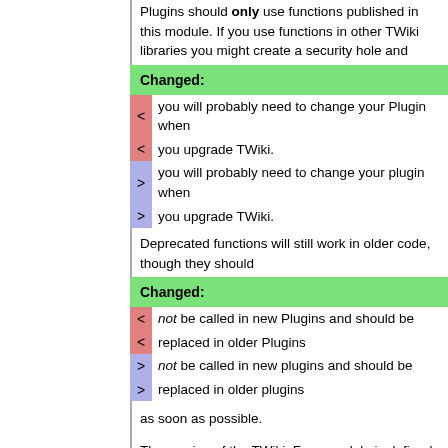Plugins should only use functions published in this module. If you use functions in other TWiki libraries you might create a security hole and
Changed:
< you will probably need to change your Plugin when
< you upgrade TWiki.
> you will probably need to change your plugin when
> you upgrade TWiki.
Deprecated functions will still work in older code, though they should
Changed:
< not be called in new Plugins and should be
< replaced in older Plugins
> not be called in new plugins and should be
> replaced in older plugins
as soon as possible.
The version of the TWiki::Func module is defined by the VERSION number of the
Line: 611 to 612